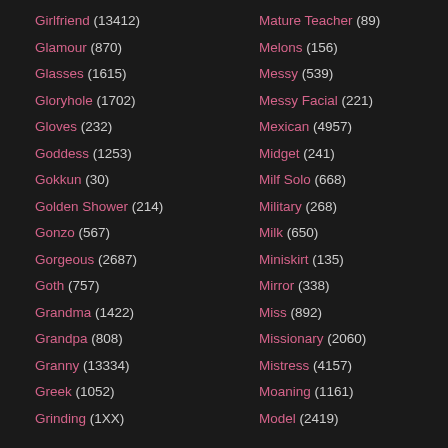Girlfriend (13412)
Glamour (870)
Glasses (1615)
Gloryhole (1702)
Gloves (232)
Goddess (1253)
Gokkun (30)
Golden Shower (214)
Gonzo (567)
Gorgeous (2687)
Goth (757)
Grandma (1422)
Grandpa (808)
Granny (13334)
Greek (1052)
Grinding (1XX)
Mature Teacher (89)
Melons (156)
Messy (539)
Messy Facial (221)
Mexican (4957)
Midget (241)
Milf Solo (668)
Military (268)
Milk (650)
Miniskirt (135)
Mirror (338)
Miss (892)
Missionary (2060)
Mistress (4157)
Moaning (1161)
Model (2419)